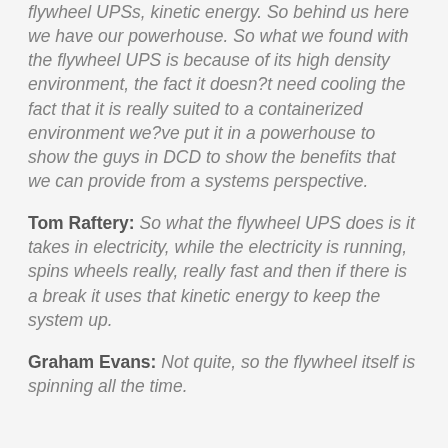flywheel UPSs, kinetic energy. So behind us here we have our powerhouse. So what we found with the flywheel UPS is because of its high density environment, the fact it doesn?t need cooling the fact that it is really suited to a containerized environment we?ve put it in a powerhouse to show the guys in DCD to show the benefits that we can provide from a systems perspective.
Tom Raftery: So what the flywheel UPS does is it takes in electricity, while the electricity is running, spins wheels really, really fast and then if there is a break it uses that kinetic energy to keep the system up.
Graham Evans: Not quite, so the flywheel itself is spinning all the time.